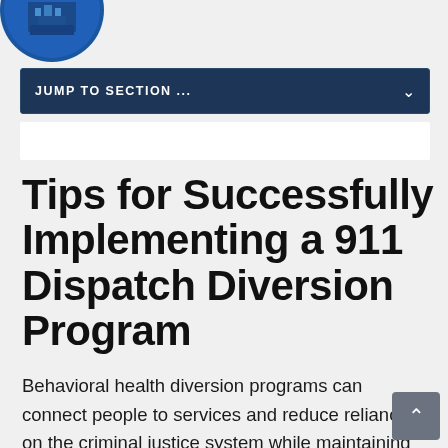[Figure (logo): Circular blue logo with building/institution image, partially visible at top-left corner]
JUMP TO SECTION ...
Tips for Successfully Implementing a 911 Dispatch Diversion Program
Behavioral health diversion programs can connect people to services and reduce reliance on the criminal justice system while maintaining